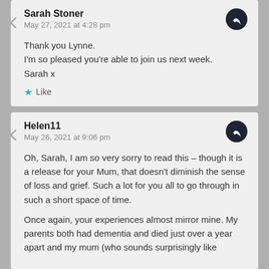Sarah Stoner
May 27, 2021 at 4:28 pm
Thank you Lynne.
I'm so pleased you're able to join us next week.
Sarah x
Like
Helen11
May 26, 2021 at 9:06 pm
Oh, Sarah, I am so very sorry to read this – though it is a release for your Mum, that doesn't diminish the sense of loss and grief. Such a lot for you all to go through in such a short space of time.

Once again, your experiences almost mirror mine. My parents both had dementia and died just over a year apart and my mum (who sounds surprisingly like